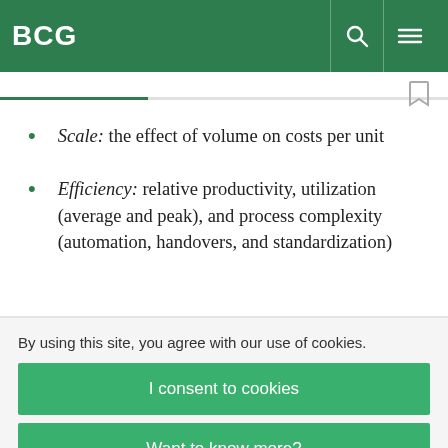BCG
Scale: the effect of volume on costs per unit
Efficiency: relative productivity, utilization (average and peak), and process complexity (automation, handovers, and standardization)
By using this site, you agree with our use of cookies.
I consent to cookies
Want to know more?
Read our Cookie Policy